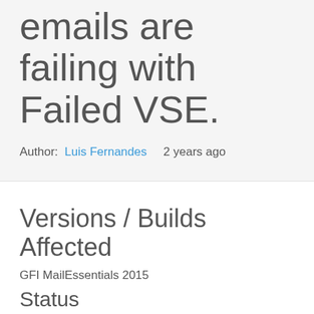emails are failing with Failed VSE.
Author:  Luis Fernandes   2 years ago
Versions / Builds Affected
GFI MailEssentials 2015
Status
Open
Problem Summary
Bitdefender is failing to scan emails...